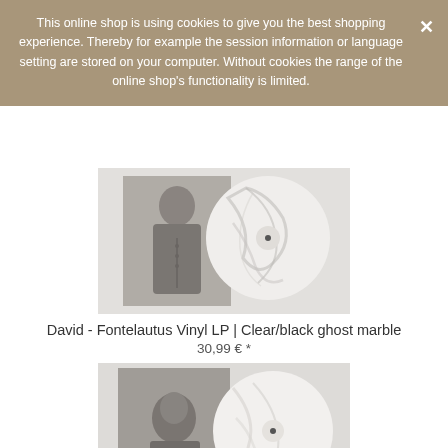This online shop is using cookies to give you the best shopping experience. Thereby for example the session information or language setting are stored on your computer. Without cookies the range of the online shop's functionality is limited.
[Figure (photo): Album cover image for David - Fontelautus Vinyl LP, Clear/black ghost marble edition. Shows a black and white portrait photo of a person on the left half, and a clear/black marble-patterned vinyl record on the right half, on a light grey background.]
David - Fontelautus Vinyl LP | Clear/black ghost marble
30,99 € *
[Figure (photo): Second album cover image, similar to the first. A darker toned black and white portrait photo on the left, and a white/grey marble vinyl record on the right, on a light grey background.]